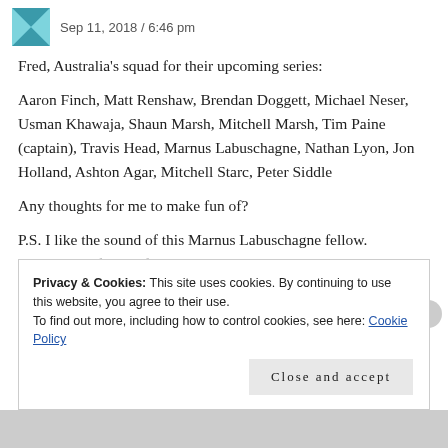Sep 11, 2018 / 6:46 pm
Fred, Australia's squad for their upcoming series:
Aaron Finch, Matt Renshaw, Brendan Doggett, Michael Neser, Usman Khawaja, Shaun Marsh, Mitchell Marsh, Tim Paine (captain), Travis Head, Marnus Labuschagne, Nathan Lyon, Jon Holland, Ashton Agar, Mitchell Starc, Peter Siddle
Any thoughts for me to make fun of?
P.S. I like the sound of this Marnus Labuschagne fellow.
Never heard of him before, yet what's not to like about the
Privacy & Cookies: This site uses cookies. By continuing to use this website, you agree to their use. To find out more, including how to control cookies, see here: Cookie Policy
Close and accept